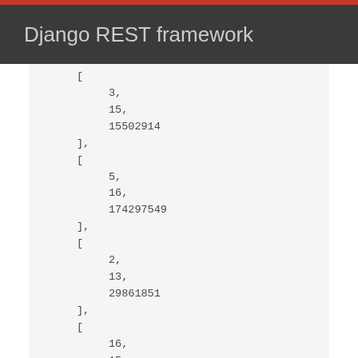Django REST framework
[
    3,
    15,
    15502914
],
[
    5,
    16,
    174297549
],
[
    2,
    13,
    29861851
],
[
    16,
    15,
    55154596
],
[
    15,
    3,
    5771904
],
[
    13,